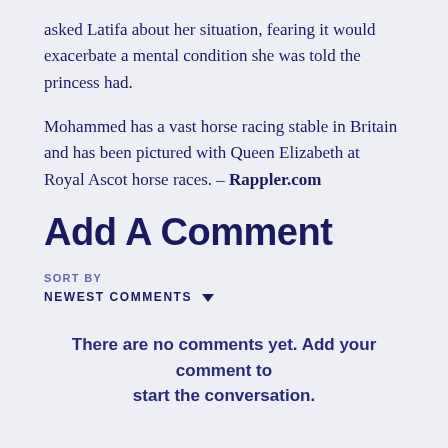asked Latifa about her situation, fearing it would exacerbate a mental condition she was told the princess had.

Mohammed has a vast horse racing stable in Britain and has been pictured with Queen Elizabeth at Royal Ascot horse races. – Rappler.com
Add A Comment
SORT BY
NEWEST COMMENTS
There are no comments yet. Add your comment to start the conversation.